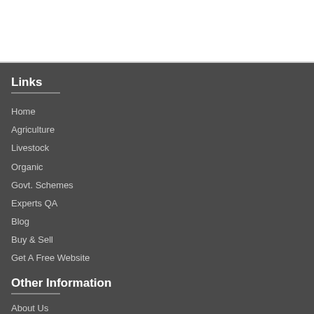Links
Home
Agriculture
Livestock
Organic
Govt. Schemes
Experts QA
Blog
Buy & Sell
Get A Free Website
Other Information
About Us